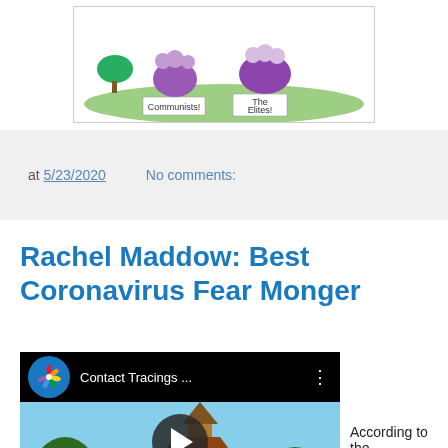[Figure (illustration): Cartoon illustration showing characters labeled 'Communists' and 'The Elites!' with purple figures on a green background]
at 5/23/2020    No comments:
Rachel Maddow: Best Coronavirus Fear Monger
[Figure (screenshot): MSNBC YouTube video thumbnail titled 'Contact Tracings ...' showing a church with a steeple, with MSNBC logo and play button overlay]
According to the